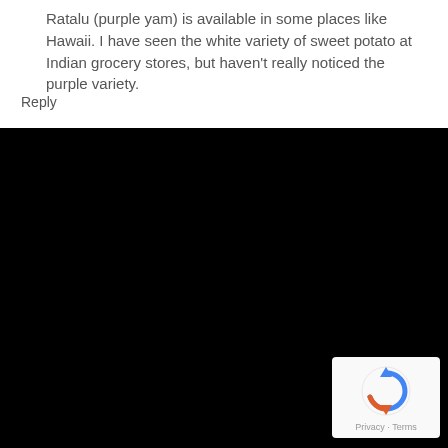Ratalu (purple yam) is available in some places like Hawaii. I have seen the white variety of sweet potato at Indian grocery stores, but haven't really noticed the purple variety.
Reply
[Figure (logo): Google reCAPTCHA badge with spinning arrow logo and Privacy - Terms text]